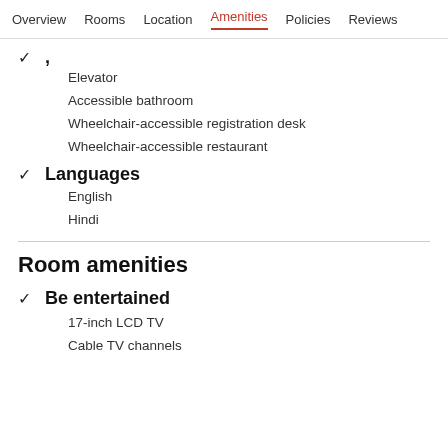Overview  Rooms  Location  Amenities  Policies  Reviews
Languages
Elevator
Accessible bathroom
Wheelchair-accessible registration desk
Wheelchair-accessible restaurant
English
Hindi
Room amenities
Be entertained
17-inch LCD TV
Cable TV channels